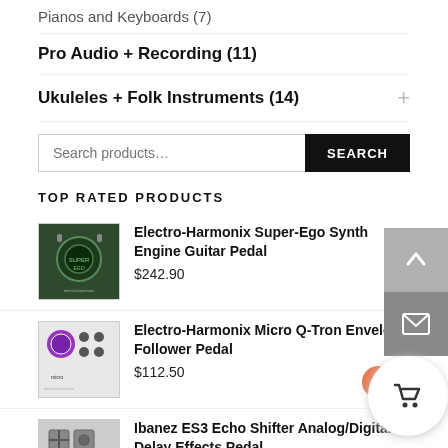Pianos and Keyboards (7)
Pro Audio + Recording (11)
Ukuleles + Folk Instruments (14)
Search products…
TOP RATED PRODUCTS
Electro-Harmonix Super-Ego Synth Engine Guitar Pedal
$242.90
Electro-Harmonix Micro Q-Tron Envelope Follower Pedal
$112.50
Ibanez ES3 Echo Shifter Analog/Digital Delay Effects Pedal